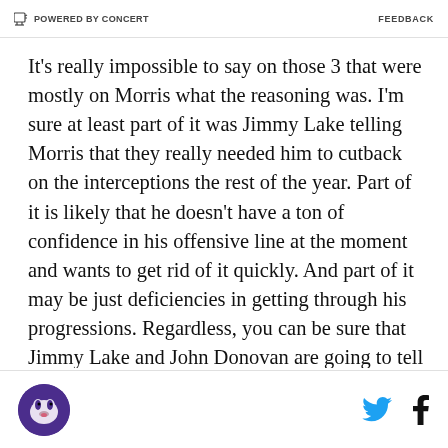POWERED BY CONCERT   FEEDBACK
It’s really impossible to say on those 3 that were mostly on Morris what the reasoning was. I’m sure at least part of it was Jimmy Lake telling Morris that they really needed him to cutback on the interceptions the rest of the year. Part of it is likely that he doesn’t have a ton of confidence in his offensive line at the moment and wants to get rid of it quickly. And part of it may be just deficiencies in getting through his progressions. Regardless, you can be sure that Jimmy Lake and John Donovan are going to tell Morris that there needs to be a middle ground between throwing 5 picks in 3 games and throwing away 6 balls in one half. Between